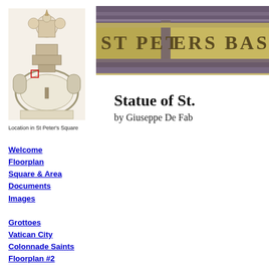[Figure (map): Floor plan map of St Peter's Square with a red rectangle marking a location]
Location in St Peter's Square
Welcome
Floorplan
Square & Area
Documents
Images
Grottoes
Vatican City
Colonnade Saints
Floorplan #2
Altars
[Figure (photo): Partial view of St Peters Basilica sign/inscription on stone facade]
Statue of St.
by Giuseppe De Fab